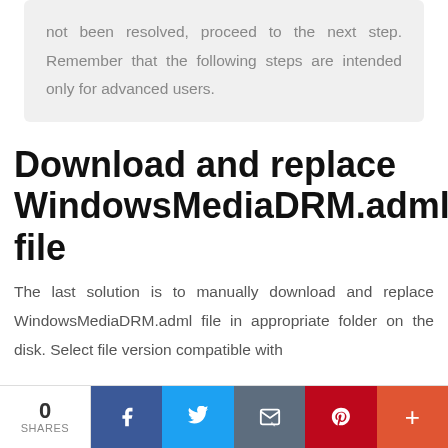not been resolved, proceed to the next step. Remember that the following steps are intended only for advanced users.
Download and replace WindowsMediaDRM.adml file
The last solution is to manually download and replace WindowsMediaDRM.adml file in appropriate folder on the disk. Select file version compatible with